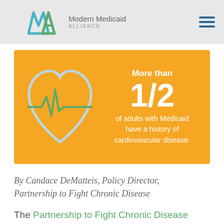Modern Medicaid ALLIANCE
[Figure (infographic): Orange infographic banner with a heart-rate monitor heart icon on the left and white text on the right reading: More than 1/2 of adults with Medicaid have a history of cardiovascular disease.]
By Candace DeMatteis, Policy Director, Partnership to Fight Chronic Disease
The Partnership to Fight Chronic Disease is proud to join the Modern Medicaid